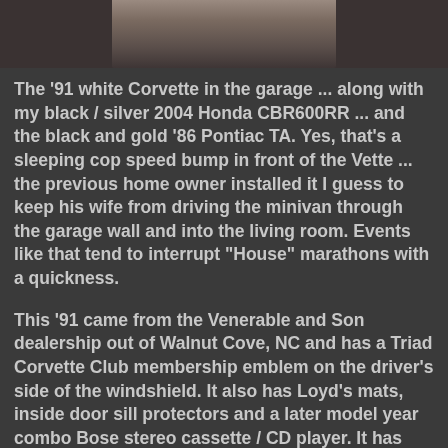[Figure (photo): Partial cropped photo visible at the top of the page, showing what appears to be a person, cut off by the top edge.]
The '91 white Corvette in the garage ... along with my black / silver 2004 Honda CBR600RR ... and the black and gold '86 Pontiac TA.  Yes, that's a sleeping cop speed bump in front of the Vette ... the previous home owner installed it I guess to keep his wife from driving the minivan through the garage wall and into the living room.  Events like that tend to interrupt "House" marathons with a quickness.
This '91 came from the Venerable and Son dealership out of Walnut Cove, NC and has a Triad Corvette Club membership emblem on the driver's side of the windshield. It also has Loyd's mats, inside door sill protectors and a later model year combo Bose stereo cassette / CD player.  It has what I think is a Clifford alarm system (LED in